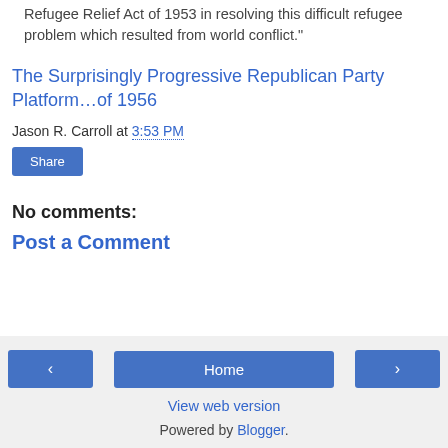Refugee Relief Act of 1953 in resolving this difficult refugee problem which resulted from world conflict.”
The Surprisingly Progressive Republican Party Platform…of 1956
Jason R. Carroll at 3:53 PM
Share
No comments:
Post a Comment
‹  Home  ›  View web version  Powered by Blogger.